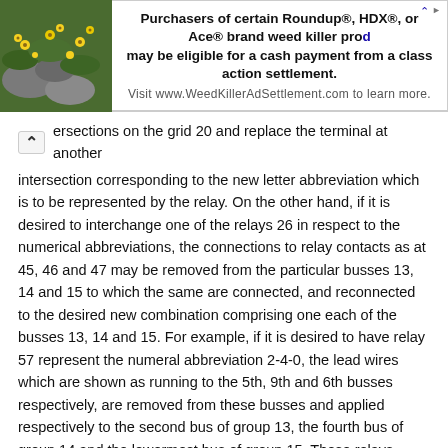[Figure (other): Advertisement banner: photo of yellow flowers on green/grey background on the left; text on right: 'Purchasers of certain Roundup®, HDX®, or Ace® brand weed killer products may be eligible for a cash payment from a class action settlement. Visit www.WeedKillerAdSettlement.com to learn more.']
ersections on the grid 20 and replace the terminal at another intersection corresponding to the new letter abbreviation which is to be represented by the relay. On the other hand, if it is desired to interchange one of the relays 26 in respect to the numerical abbreviations, the connections to relay contacts as at 45, 46 and 47 may be removed from the particular busses 13, 14 and 15 to which the same are connected, and reconnected to the desired new combination comprising one each of the busses 13, 14 and 15. For example, if it is desired to have relay 57 represent the numeral abbreviation 2-4-0, the lead wires which are shown as running to the 5th, 9th and 6th busses respectively, are removed from these busses and applied respectively to the second bus of group 13, the fourth bus of group 14 and the lowermost bus of group 15. These relays, when actuated, function to momentarily ground certain of the wires 13, 14 and 15, representing the desired numbers, as will be hereinafter further explained.
The operating circuits will now be traced and described in greater detail. Assuming the key of group 10 designated as Z is operated, the first relay 18 will "pick up" through a circuit from ground 28, key switch 29, connection wire 30, coil of relay 61, to battery and ground at 31.